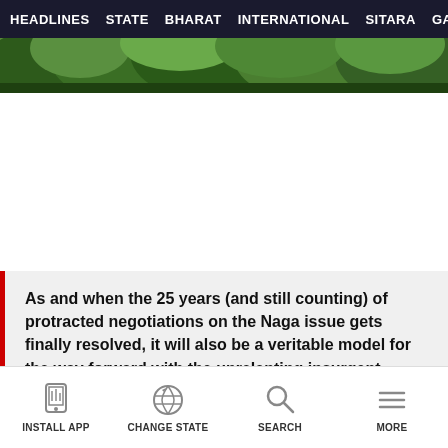HEADLINES  STATE  BHARAT  INTERNATIONAL  SITARA  GAL
[Figure (photo): Green forest/trees hero image banner]
As and when the 25 years (and still counting) of protracted negotiations on the Naga issue gets finally resolved, it will also be a veritable model for the way forward with the unrelenting insurgent groups from Assam and Manipur, writes Sanjib Kr Baruah
INSTALL APP  CHANGE STATE  SEARCH  MORE